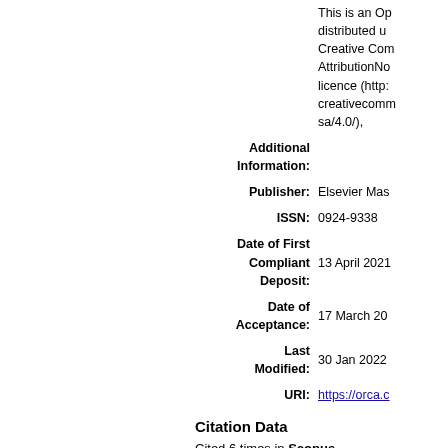| Additional Information: | This is an Op distributed u Creative Com AttributionNo licence (http: creativecomm sa/4.0/), |
| Publisher: | Elsevier Mas |
| ISSN: | 0924-9338 |
| Date of First Compliant Deposit: | 13 April 2021 |
| Date of Acceptance: | 17 March 20 |
| Last Modified: | 30 Jan 2022 |
| URI: | https://orca.c |
Citation Data
Cited 6 times in Scopus. View in Scopus. Powered By Scopus® Data
Actions (repository staff only)